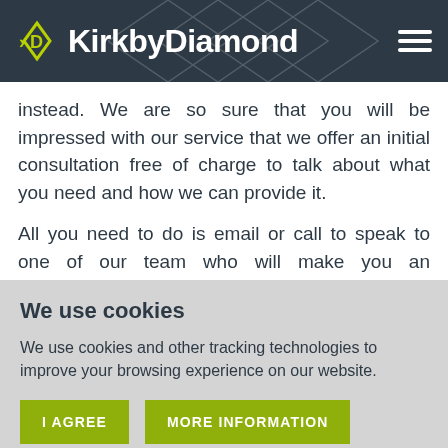KirkbyDiamond
instead. We are so sure that you will be impressed with our service that we offer an initial consultation free of charge to talk about what you need and how we can provide it.
All you need to do is email or call to speak to one of our team who will make you an appointment at
We use cookies
We use cookies and other tracking technologies to improve your browsing experience on our website.
I AGREE   MORE INFORMATION